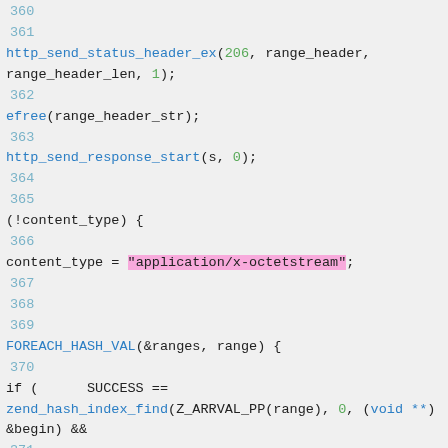[Figure (screenshot): Source code viewer showing PHP/C code lines 360-372 with syntax highlighting. Blue for function names, green for numbers/constants, pink highlight for string literal 'application/x-octetstream', line numbers in teal/cyan.]